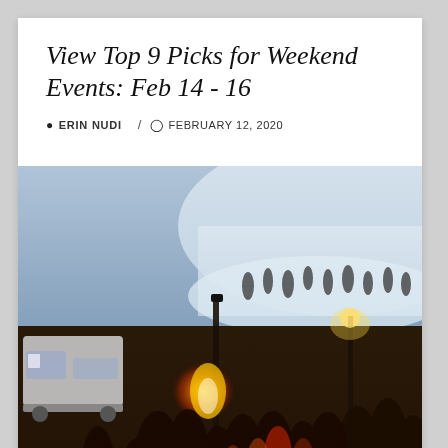View Top 9 Picks for Weekend Events: Feb 14 - 16
ERIN NUDI  /  FEBRUARY 12, 2020
[Figure (photo): Outdoor winter night event with a crowd of people gathered around a bonfire/torch, with snowy hills in the background and a food truck on the left side.]
Looking for winter events like ice bars? Want to go out with your partner for Valentine's Day? We've got